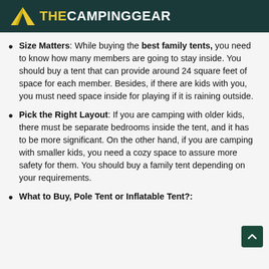THE CAMPING GEAR
Size Matters: While buying the best family tents, you need to know how many members are going to stay inside. You should buy a tent that can provide around 24 square feet of space for each member. Besides, if there are kids with you, you must need space inside for playing if it is raining outside.
Pick the Right Layout: If you are camping with older kids, there must be separate bedrooms inside the tent, and it has to be more significant. On the other hand, if you are camping with smaller kids, you need a cozy space to assure more safety for them. You should buy a family tent depending on your requirements.
What to Buy, Pole Tent or Inflatable Tent?: